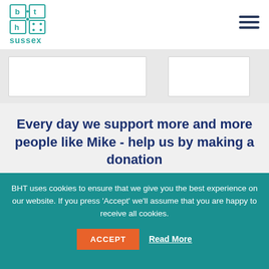BHT Sussex logo and navigation
[Figure (logo): BHT Sussex logo with teal grid icon and 'sussex' text below]
Every day we support more and more people like Mike - help us by making a donation
BHT uses cookies to ensure that we give you the best experience on our website. If you press ‘Accept’ we’ll assume that you are happy to receive all cookies.
ACCEPT  Read More